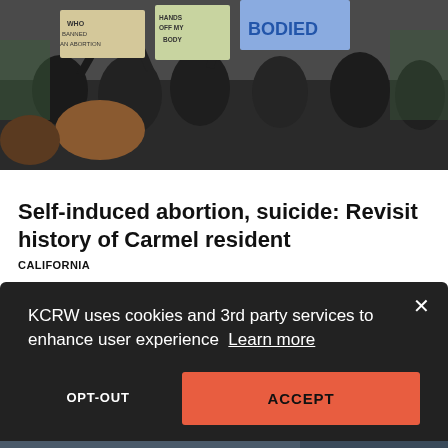[Figure (photo): Protest scene with people holding signs including 'WHO BANNED AN ABORTION', 'HANDS OFF MY BODY', and 'BODIED']
Self-induced abortion, suicide: Revisit history of Carmel resident
CALIFORNIA
A chilling account of one woman's self-induced abortion sheds light on the history of Carmel. Joe Mathews says it undermines SCOTUS' justification for ending Roe v. Wade.
KCRW uses cookies and 3rd party services to enhance user experience  Learn more
OPT-OUT
ACCEPT
[Figure (photo): Bottom portion of another news article image, partially hidden behind cookie banner, with 'Your Privacy' text visible]